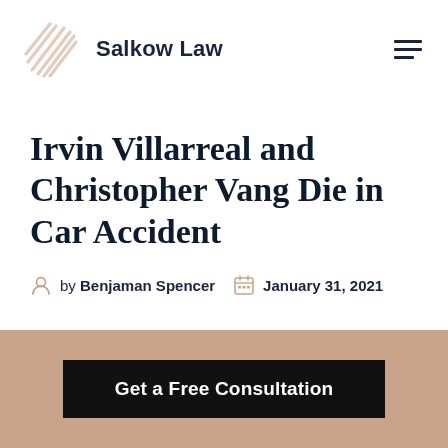Salkow Law
Irvin Villarreal and Christopher Vang Die in Car Accident
by Benjaman Spencer   January 31, 2021
Get a Free Consultation